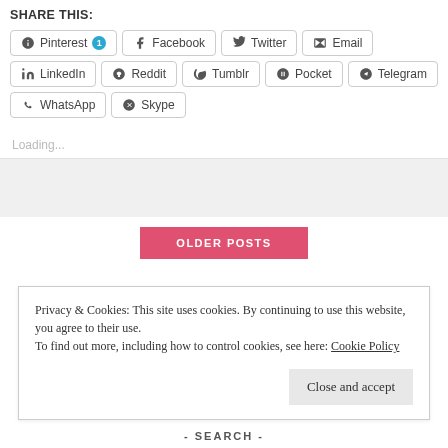SHARE THIS:
Pinterest 1 | Facebook | Twitter | Email | LinkedIn | Reddit | Tumblr | Pocket | Telegram | WhatsApp | Skype
Loading...
OLDER POSTS
Privacy & Cookies: This site uses cookies. By continuing to use this website, you agree to their use.
To find out more, including how to control cookies, see here: Cookie Policy
Close and accept
- SEARCH -